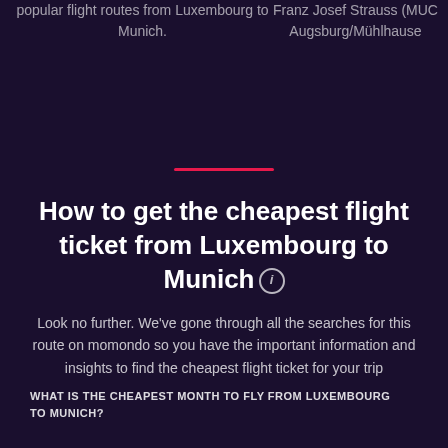popular flight routes from Luxembourg to Munich.
Franz Josef Strauss (MUC) Augsburg/Mühlhause
How to get the cheapest flight ticket from Luxembourg to Munich
Look no further. We've gone through all the searches for this route on momondo so you have the important information and insights to find the cheapest flight ticket for your trip
WHAT IS THE CHEAPEST MONTH TO FLY FROM LUXEMBOURG TO MUNICH?